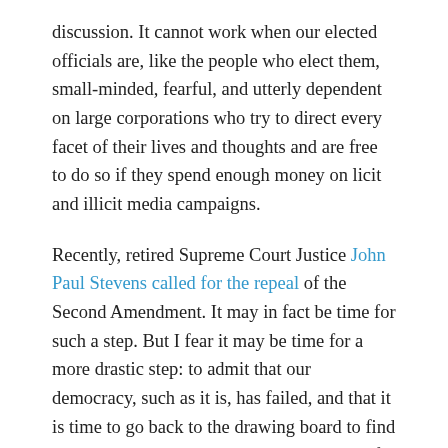discussion. It cannot work when our elected officials are, like the people who elect them, small-minded, fearful, and utterly dependent on large corporations who try to direct every facet of their lives and thoughts and are free to do so if they spend enough money on licit and illicit media campaigns.
Recently, retired Supreme Court Justice John Paul Stevens called for the repeal of the Second Amendment. It may in fact be time for such a step. But I fear it may be time for a more drastic step: to admit that our democracy, such as it is, has failed, and that it is time to go back to the drawing board to find a new, more equitable, more humane way of living together in this world that we have created for ourselves.